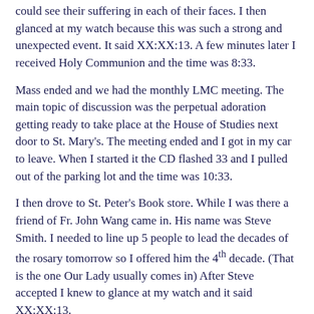could see their suffering in each of their faces. I then glanced at my watch because this was such a strong and unexpected event. It said XX:XX:13. A few minutes later I received Holy Communion and the time was 8:33.
Mass ended and we had the monthly LMC meeting. The main topic of discussion was the perpetual adoration getting ready to take place at the House of Studies next door to St. Mary's. The meeting ended and I got in my car to leave. When I started it the CD flashed 33 and I pulled out of the parking lot and the time was 10:33.
I then drove to St. Peter's Book store. While I was there a friend of Fr. John Wang came in. His name was Steve Smith. I needed to line up 5 people to lead the decades of the rosary tomorrow so I offered him the 4th decade. (That is the one Our Lady usually comes in) After Steve accepted I knew to glance at my watch and it said XX:XX:13.
Throughout the day I distributed all of the decades for tomorrow except #2. Later in the day I stopped at St. Joseph's to go to confession. I glanced at my watch as I walked in the church and again it said XX:XX:33. I had a few minutes before confessions started so I prayed another rosary. When I completed the rosary I went to confession. I then left and just as I pulled out of the